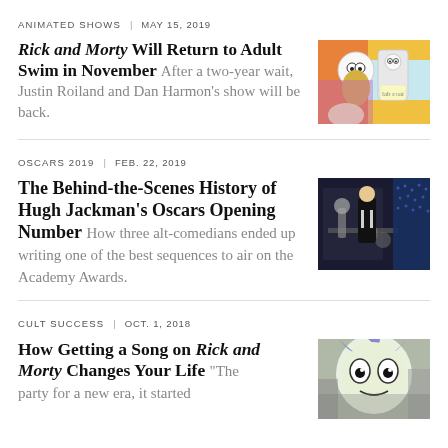ANIMATED SHOWS | MAY 15, 2019
Rick and Morty Will Return to Adult Swim in November After a two-year wait, Justin Roiland and Dan Harmon's show will be back.
[Figure (photo): Colorful animated image of Rick and Morty characters against a psychedelic background]
OSCARS 2019 | FEB. 22, 2019
The Behind-the-Scenes History of Hugh Jackman's Oscars Opening Number How three alt-comedians ended up writing one of the best sequences to air on the Academy Awards.
[Figure (photo): Photo of Hugh Jackman in tuxedo on stage at the Oscars with large mechanical props]
CULT SUCCESS | OCT. 1, 2018
How Getting a Song on Rick and Morty Changes Your Life "The
[Figure (photo): Animated image of Rick character from Rick and Morty]